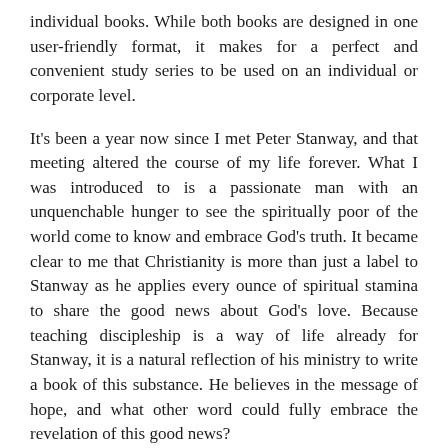individual books. While both books are designed in one user-friendly format, it makes for a perfect and convenient study series to be used on an individual or corporate level.
It's been a year now since I met Peter Stanway, and that meeting altered the course of my life forever. What I was introduced to is a passionate man with an unquenchable hunger to see the spiritually poor of the world come to know and embrace God's truth. It became clear to me that Christianity is more than just a label to Stanway as he applies every ounce of spiritual stamina to share the good news about God's love. Because teaching discipleship is a way of life already for Stanway, it is a natural reflection of his ministry to write a book of this substance. He believes in the message of hope, and what other word could fully embrace the revelation of this good news?
If the concepts that are presented are not only contemplated but then put into action, McKenzie's Companion/Who is McKenzie? becomes a life changing guide. When you consider that the author is gifted in discipleship and driven with a unique passion for his readers to know and live by truth, you understand why this book becomes one of the most accredited personal study tools